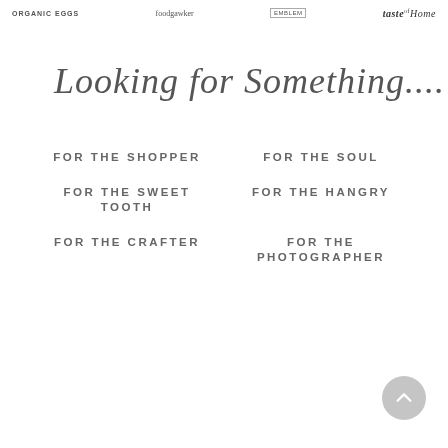ORGANIC EGGS | foodgawker | [emblem] | taste of Home
Looking for Something....
FOR THE SHOPPER
FOR THE SOUL
FOR THE SWEET TOOTH
FOR THE HANGRY
FOR THE CRAFTER
FOR THE PHOTOGRAPHER